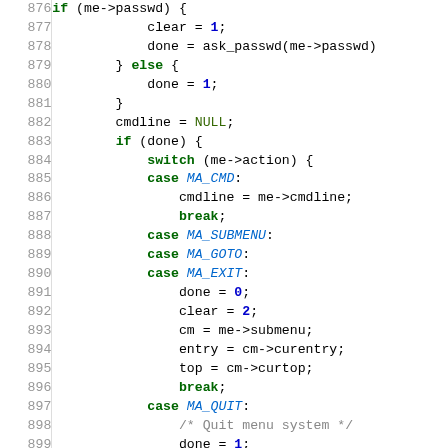[Figure (screenshot): Source code listing (C language) showing lines 876-903 of a menu system implementation, with syntax highlighting: keywords in bold green, numeric constants in bold blue, identifiers/macros in italic blue, comments in gray.]